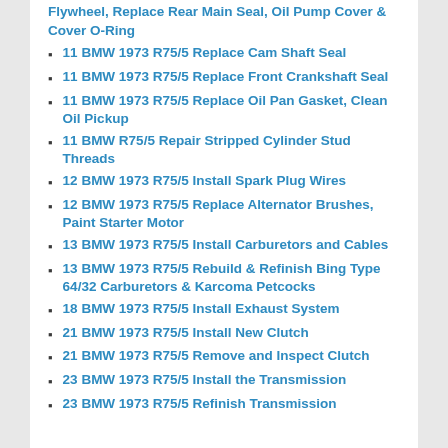Flywheel, Replace Rear Main Seal, Oil Pump Cover & Cover O-Ring
11 BMW 1973 R75/5 Replace Cam Shaft Seal
11 BMW 1973 R75/5 Replace Front Crankshaft Seal
11 BMW 1973 R75/5 Replace Oil Pan Gasket, Clean Oil Pickup
11 BMW R75/5 Repair Stripped Cylinder Stud Threads
12 BMW 1973 R75/5 Install Spark Plug Wires
12 BMW 1973 R75/5 Replace Alternator Brushes, Paint Starter Motor
13 BMW 1973 R75/5 Install Carburetors and Cables
13 BMW 1973 R75/5 Rebuild & Refinish Bing Type 64/32 Carburetors & Karcoma Petcocks
18 BMW 1973 R75/5 Install Exhaust System
21 BMW 1973 R75/5 Install New Clutch
21 BMW 1973 R75/5 Remove and Inspect Clutch
23 BMW 1973 R75/5 Install the Transmission
23 BMW 1973 R75/5 Refinish Transmission